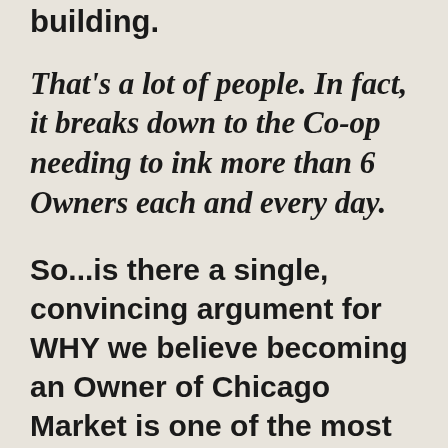building.
That's a lot of people. In fact, it breaks down to the Co-op needing to ink more than 6 Owners each and every day.
So...is there a single, convincing argument for WHY we believe becoming an Owner of Chicago Market is one of the most important decisions you'll make this year? Actually, No. In fact, there's almost as many reasons for buying into the